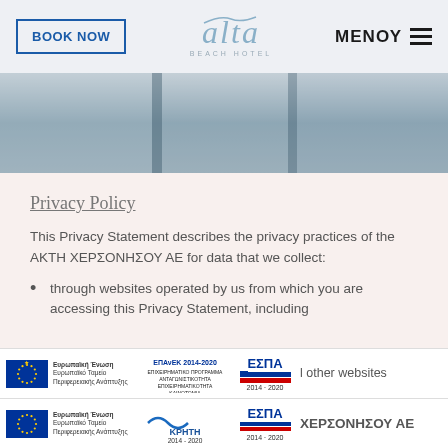BOOK NOW | alta BEACH HOTEL | ΜΕΝΟΥ
[Figure (photo): Hotel facade hero image with vertical architectural dividers, grey-blue tones]
Privacy Policy
This Privacy Statement describes the privacy practices of the ΑΚΤΗ ΧΕΡΣΟΝΗΣΟΥ ΑΕ for data that we collect:
through websites operated by us from which you are accessing this Privacy Statement, including [other websites] ΧΕΡΣΟΝΗΣΟΥ ΑΕ
[Figure (logo): EU Structural Funds banner 1: Ευρωπαϊκή Ένωση / ΕΠΑνΕΚ 2014-2020 / ΕΣΠΑ 2014-2020]
[Figure (logo): EU Structural Funds banner 2: Ευρωπαϊκή Ένωση / ΚΡΗΤΗ 2014-2020 / ΕΣΠΑ 2014-2020]